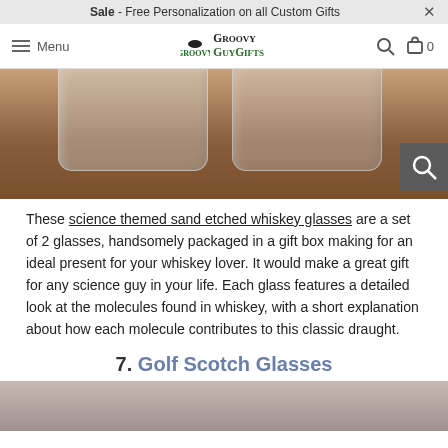Sale - Free Personalization on all Custom Gifts ×
[Figure (screenshot): Groovy Guy Gifts navigation bar with hamburger menu, logo, search icon, and cart showing 0 items]
[Figure (photo): Two science themed whiskey glasses on a wooden surface, with a search magnifier overlay in bottom right]
These science themed sand etched whiskey glasses are a set of 2 glasses, handsomely packaged in a gift box making for an ideal present for your whiskey lover. It would make a great gift for any science guy in your life. Each glass features a detailed look at the molecules found in whiskey, with a short explanation about how each molecule contributes to this classic draught.
7. Golf Scotch Glasses
[Figure (photo): Bottom portion of a product image, partially visible, showing a metallic/silver surface]